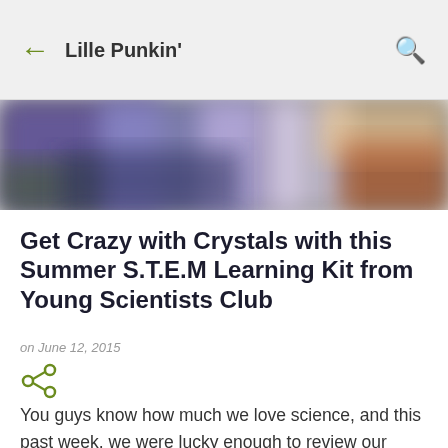Lille Punkin'
[Figure (photo): Blurred colorful background photo used as hero image for blog post]
Get Crazy with Crystals with this Summer S.T.E.M Learning Kit from Young Scientists Club
on June 12, 2015
[Figure (other): Share icon (green)]
You guys know how much we love science, and this past week, we were lucky enough to review our THIRD science kit from The Young Scientists Club. This one featured the characters from The